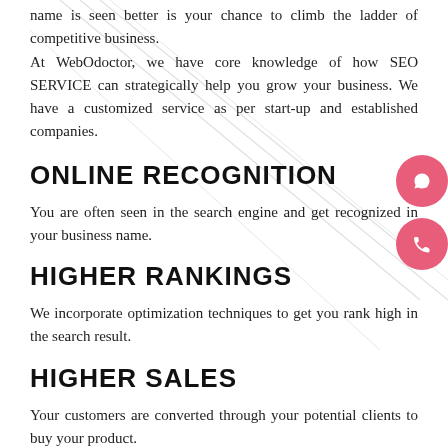name is seen better is your chance to climb the ladder of competitive business. At WebOdoctor, we have core knowledge of how SEO SERVICE can strategically help you grow your business. We have a customized service as per start-up and established companies.
ONLINE RECOGNITION
You are often seen in the search engine and get recognized in your business name.
HIGHER RANKINGS
We incorporate optimization techniques to get you rank high in the search result.
HIGHER SALES
Your customers are converted through your potential clients to buy your product.